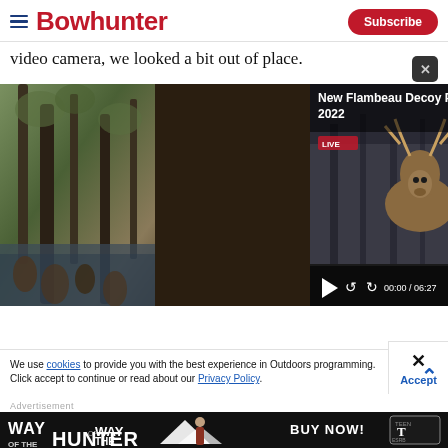Bowhunter — Subscribe
video camera, we looked a bit out of place.
[Figure (screenshot): Video player showing deer decoy products for 2022, overlaid on forest background photo. Title: 'New Flambeau Decoy Products for 2022'. Video controls show 00:00 / 06:27.]
We use cookies to provide you with the best experience in Outdoors programming. Click accept to continue or read about our Privacy Policy.
[Figure (screenshot): Advertisement banner: 'WAY OF THE HUNTER - BUY NOW!' game advertisement with Teen ESRB rating.]